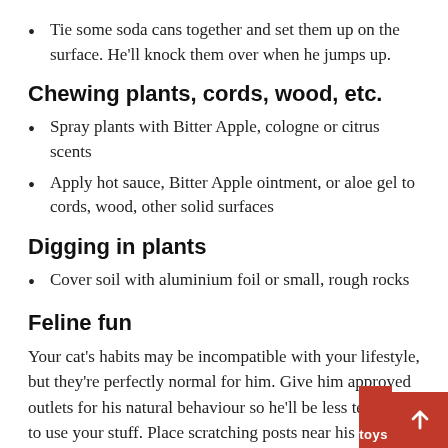Tie some soda cans together and set them up on the surface. He'll knock them over when he jumps up.
Chewing plants, cords, wood, etc.
Spray plants with Bitter Apple, cologne or citrus scents
Apply hot sauce, Bitter Apple ointment, or aloe gel to cords, wood, other solid surfaces
Digging in plants
Cover soil with aluminium foil or small, rough rocks
Feline fun
Your cat's habits may be incompatible with your lifestyle, but they're perfectly normal for him. Give him approved outlets for his natural behaviour so he'll be less tempted to use your stuff. Place scratching posts near his favourite hang-outs so he won't go for the couch or carpet. Give him a tall cat tree to satisfy his instinct to watch the world from on high. Make sure he has toys